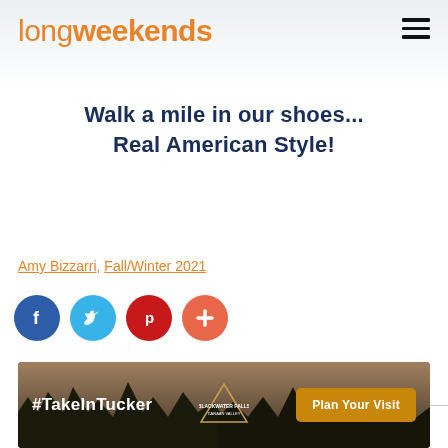longweekends
Walk a mile in our shoes...
Real American Style!
Amy Bizzarri, Fall/Winter 2021
[Figure (infographic): Social media sharing icons: Facebook (blue), Twitter (light blue), Pinterest (red), Plus/more button (orange-red)]
TAG:
[Figure (infographic): Advertisement banner for Blackwater Falls Canaan Valley with text '#TakeInTucker' on left, park logo in center, and 'Plan Your Visit' button on right. Dark background with forest scene.]